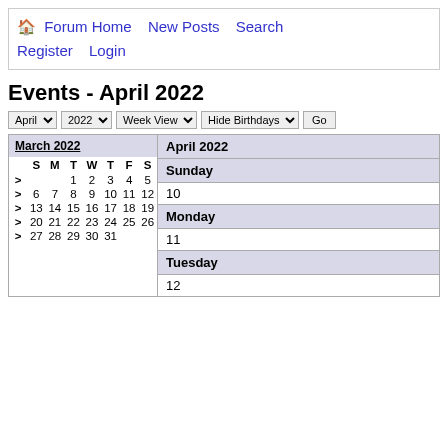🏠 Forum Home   New Posts   Search   Register   Login
Events - April 2022
April [dropdown]  2022 [dropdown]  Week View [dropdown]  Hide Birthdays [dropdown]  Go
|  | S | M | T | W | T | F | S |
| --- | --- | --- | --- | --- | --- | --- | --- |
| > |  |  | 1 | 2 | 3 | 4 | 5 |
| > | 6 | 7 | 8 | 9 | 10 | 11 | 12 |
| > | 13 | 14 | 15 | 16 | 17 | 18 | 19 |
| > | 20 | 21 | 22 | 23 | 24 | 25 | 26 |
| > | 27 | 28 | 29 | 30 | 31 |  |  |
| April 2022 | Sunday | Monday | Tuesday |
| --- | --- | --- | --- |
| Sunday | 10 |
| Monday | 11 |
| Tuesday | 12 |